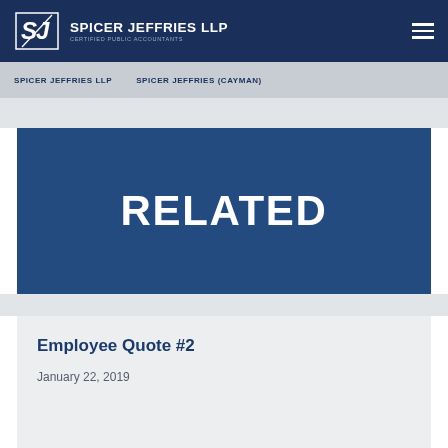SPICER JEFFRIES LLP — CERTIFIED PUBLIC ACCOUNTANTS
SPICER JEFFRIES LLP    SPICER JEFFRIES (CAYMAN)
RELATED
Employee Quote #2
January 22, 2019